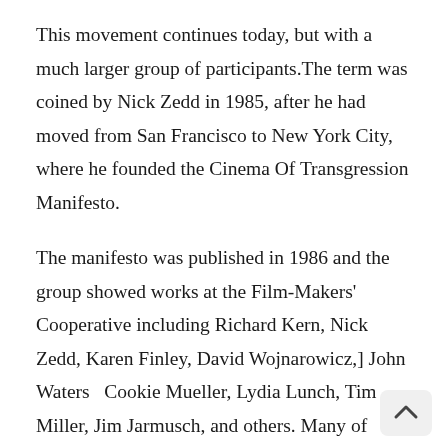This movement continues today, but with a much larger group of participants.The term was coined by Nick Zedd in 1985, after he had moved from San Francisco to New York City, where he founded the Cinema Of Transgression Manifesto.
The manifesto was published in 1986 and the group showed works at the Film-Makers' Cooperative including Richard Kern, Nick Zedd, Karen Finley, David Wojnarowicz,] John Waters  Cookie Mueller, Lydia Lunch, Tim Miller, Jim Jarmusch, and others. Many of these artists are affiliated with Punk and No Wave Cinema.Thurston Moore listed Punk cinema as one of the “25 underground movies you should se in a 2013 article for Rolling Stone